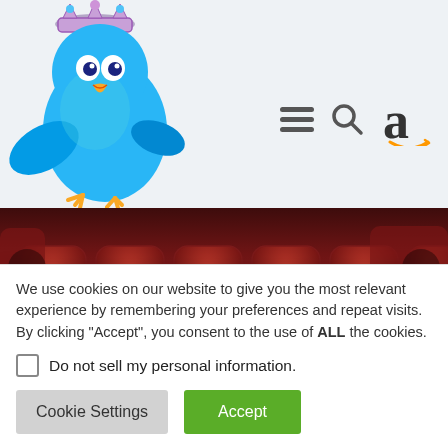[Figure (logo): Blue Twitter bird mascot wearing a crown, styled as a royal queen bird logo]
[Figure (illustration): Navigation bar icons: hamburger menu (three horizontal lines), magnifying glass search icon, Amazon 'a' logo with orange smile]
[Figure (photo): Theater seating image showing red/burgundy seat backs in rows, with left and right navigation arrows on each side]
How Broadway's workers kept hope alive when their entire industry went dark
We use cookies on our website to give you the most relevant experience by remembering your preferences and repeat visits. By clicking “Accept”, you consent to the use of ALL the cookies.
Do not sell my personal information.
Cookie Settings
Accept